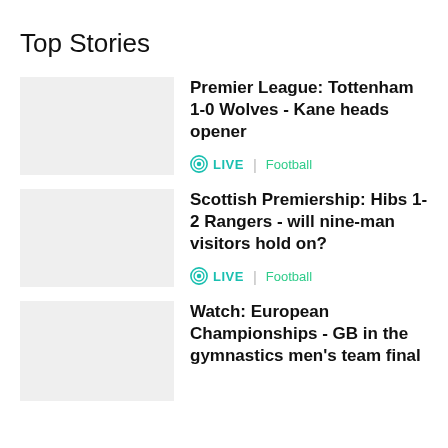Top Stories
Premier League: Tottenham 1-0 Wolves - Kane heads opener
LIVE  |  Football
Scottish Premiership: Hibs 1-2 Rangers - will nine-man visitors hold on?
LIVE  |  Football
Watch: European Championships - GB in the gymnastics men's team final